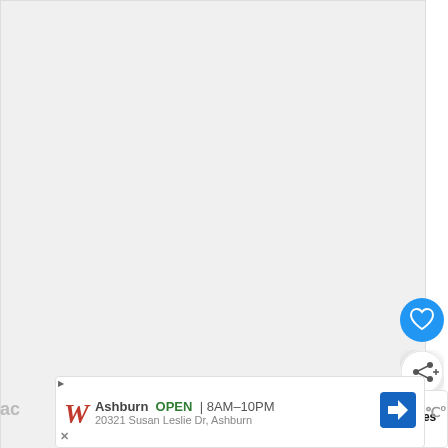[Figure (screenshot): Large white/light gray blank content area taking up most of the upper portion of the page, representing a webpage screenshot with an empty article image area.]
[Figure (illustration): Blue circular heart/favorite button icon (white heart outline on blue circle)]
[Figure (illustration): White circular share button icon (share/connect icon on white circle with shadow)]
[Figure (screenshot): What's Next promotional box showing Kohl's promo codes 20%... with KOHL'S logo in red]
Be sure to look on “Things to Do” for family
[Figure (screenshot): Walgreens advertisement banner showing Ashburn store OPEN 8AM-10PM at 20321 Susan Leslie Dr, Ashburn with navigation arrow icon]